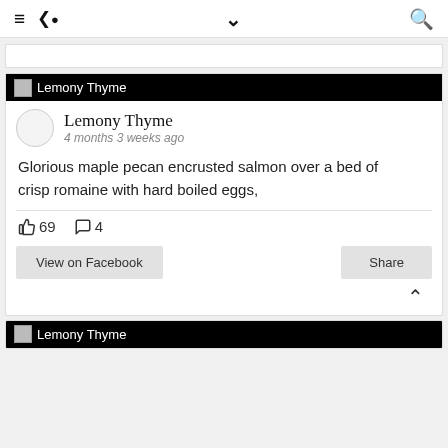≡ < ∨ 🔍
[Figure (screenshot): Truncated card stub at top]
Lemony Thyme
4 months 3 weeks ago
Glorious maple pecan encrusted salmon over a bed of crisp romaine with hard boiled eggs,
👍 69   💬 4
View on Facebook   Share
[Figure (screenshot): Second Lemony Thyme card beginning at bottom]